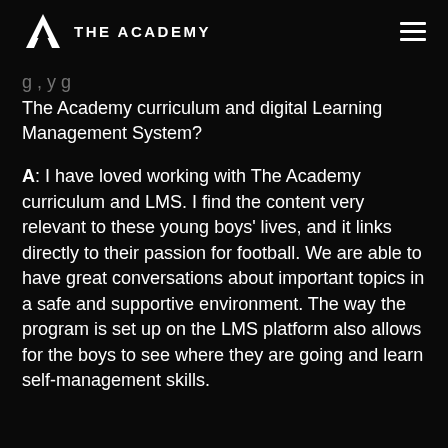THE ACADEMY
The Academy curriculum and digital Learning Management System?
A: I have loved working with The Academy curriculum and LMS. I find the content very relevant to these young boys' lives, and it links directly to their passion for football. We are able to have great conversations about important topics in a safe and supportive environment. The way the program is set up on the LMS platform also allows for the boys to see where they are going and learn self-management skills.